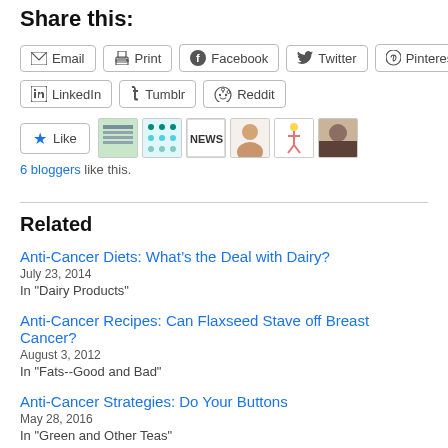Share this:
Email | Print | Facebook | Twitter | Pinterest
LinkedIn | Tumblr | Reddit
[Figure (other): Like button with star icon and 6 blogger avatars]
6 bloggers like this.
Related
Anti-Cancer Diets: What’s the Deal with Dairy?
July 23, 2014
In "Dairy Products"
Anti-Cancer Recipes: Can Flaxseed Stave off Breast Cancer?
August 3, 2012
In "Fats--Good and Bad"
Anti-Cancer Strategies: Do Your Buttons
May 28, 2016
In "Green and Other Teas"